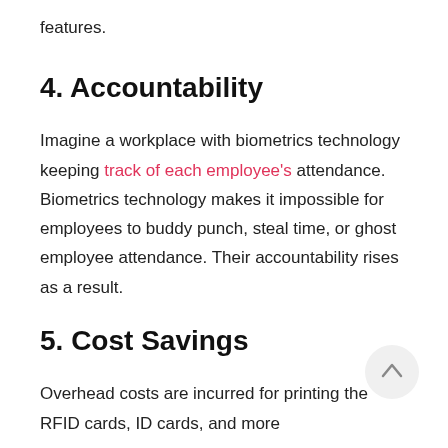features.
4. Accountability
Imagine a workplace with biometrics technology keeping track of each employee's attendance. Biometrics technology makes it impossible for employees to buddy punch, steal time, or ghost employee attendance. Their accountability rises as a result.
5. Cost Savings
Overhead costs are incurred for printing the RFID cards, ID cards, and more